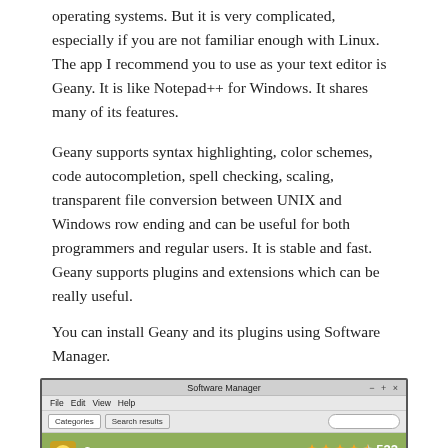operating systems. But it is very complicated, especially if you are not familiar enough with Linux. The app I recommend you to use as your text editor is Geany. It is like Notepad++ for Windows. It shares many of its features.
Geany supports syntax highlighting, color schemes, code autocompletion, spell checking, scaling, transparent file conversion between UNIX and Windows row ending and can be useful for both programmers and regular users. It is stable and fast.
Geany supports plugins and extensions which can be really useful.
You can install Geany and its plugins using Software Manager.
[Figure (screenshot): Screenshot of the Software Manager application showing search results with Geany (532 reviews, ~4.5 stars) highlighted in green, and Geany-plugins (15 reviews, ~4 stars) below it.]